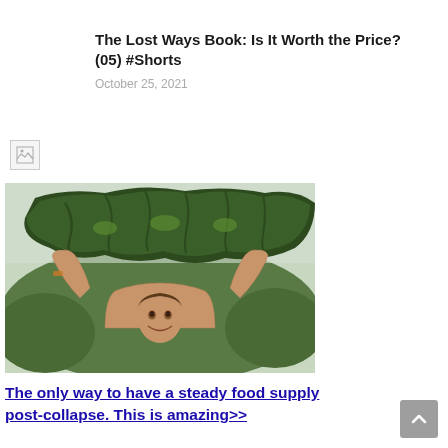The Lost Ways Book: Is It Worth the Price? (05) #Shorts
October 25, 2021
[Figure (photo): Broken/missing image placeholder icon]
[Figure (photo): A shirtless man holding a massive dark green zucchini/marrow above his head, smiling at the camera with trees in the background]
The only way to have a steady food supply post-collapse. This is amazing>>